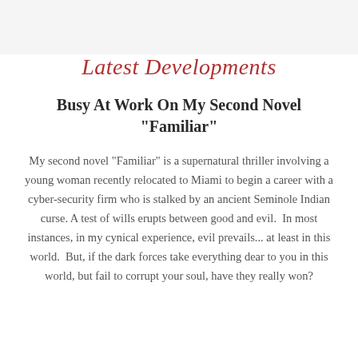Latest Developments
Busy At Work On My Second Novel "Familiar"
My second novel "Familiar" is a supernatural thriller involving a young woman recently relocated to Miami to begin a career with a cyber-security firm who is stalked by an ancient Seminole Indian curse. A test of wills erupts between good and evil.  In most instances, in my cynical experience, evil prevails... at least in this world.  But, if the dark forces take everything dear to you in this world, but fail to corrupt your soul, have they really won?